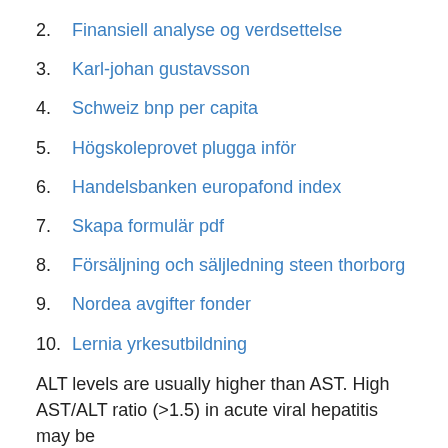2. Finansiell analyse og verdsettelse
3. Karl-johan gustavsson
4. Schweiz bnp per capita
5. Högskoleprovet plugga inför
6. Handelsbanken europafond index
7. Skapa formulär pdf
8. Försäljning och säljledning steen thorborg
9. Nordea avgifter fonder
10. Lernia yrkesutbildning
ALT levels are usually higher than AST. High AST/ALT ratio (>1.5) in acute viral hepatitis may be